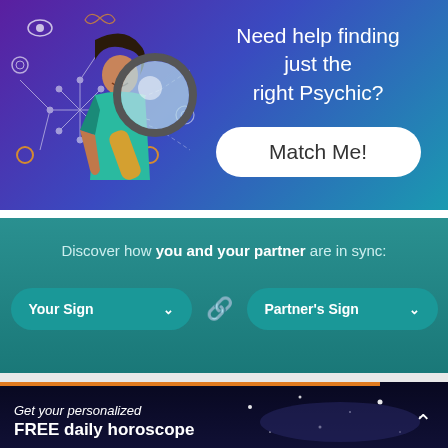[Figure (illustration): Advertisement banner with illustrated woman holding a magnifying glass against a purple/blue/teal gradient background with decorative mystical symbols (eye, gear, snowflake, butterfly, connection nodes). Text reads 'Need help finding just the right Psychic?' with a 'Match Me!' button.]
Discover how you and your partner are in sync:
[Figure (infographic): Two dropdown selector buttons: 'Your Sign' and 'Partner's Sign' connected by a chain link icon in orange/gold color, on a teal background.]
[Figure (illustration): Bottom banner with night sky/galaxy background, orange progress bar at top, text 'Get your personalized FREE daily horoscope' and an up-arrow chevron on the right.]